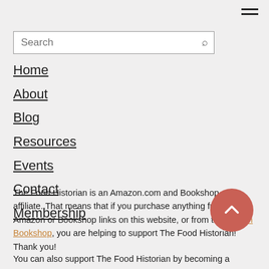[Figure (other): Hamburger menu icon (three horizontal lines) in top right corner]
[Figure (other): Search bar with placeholder text 'Search' and a search icon]
Home
About
Blog
Resources
Events
Contact
Membership
The Food Historian is an Amazon.com and Bookshop.org affiliate. That means that if you purchase anything from any Amazon or Bookshop links on this website, or from the Historian Bookshop, you are helping to support The Food Historian! Thank you!
You can also support The Food Historian by becoming a patron
[Figure (other): Red circular back-to-top button with upward chevron arrow]